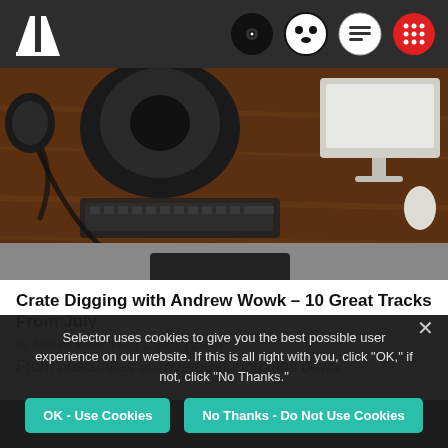[Figure (logo): White twin tower / music logo on dark nav bar with navigation icons: vinyl record, face emoji, speech bubble, red grid app icon]
[Figure (photo): Overhead view of a wooden desk with headphones, turntable/DJ equipment, keyboard, Apple computer monitor and mouse]
Crate Digging with Andrew Wowk – 10 Great Tracks From July
by Andrew Wowk | Aug 1, 2022 | Essay
From obscurities uncovered during trips down
Selector uses cookies to give you the best possible user experience on our website. If this is all right with you, click "OK," if not, click "No Thanks."
OK - Use Cookies
No Thanks - Do Not Use Cookies